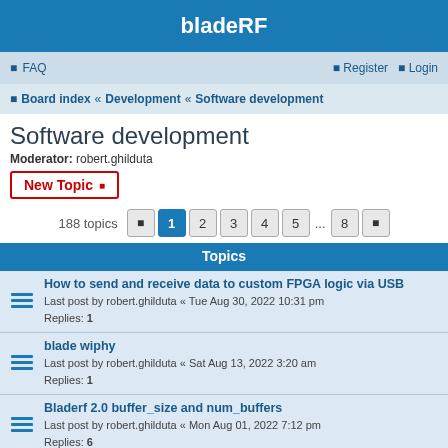bladeRF
FAQ   Register  Login
Board index « Development « Software development
Software development
Moderator: robert.ghilduta
New Topic
188 topics  1 2 3 4 5 ... 8
Topics
How to send and receive data to custom FPGA logic via USB
Last post by robert.ghilduta « Tue Aug 30, 2022 10:31 pm
Replies: 1
blade wiphy
Last post by robert.ghilduta « Sat Aug 13, 2022 3:20 am
Replies: 1
Bladerf 2.0 buffer_size and num_buffers
Last post by robert.ghilduta « Mon Aug 01, 2022 7:12 pm
Replies: 6
Headless bladeRF XA4
Last post by robert.ghilduta « Sat Jul 16, 2022 7:10 pm
Replies: 1